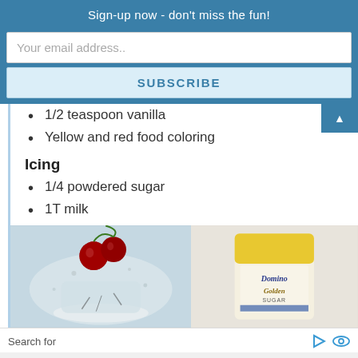Sign-up now - don't miss the fun!
Your email address..
SUBSCRIBE
1/2 teaspoon vanilla
Yellow and red food coloring
Icing
1/4 powdered sugar
1T milk
[Figure (photo): Cherries with ice cream dessert splash]
[Figure (photo): Domino Golden Sugar bag]
Search for
1.  Remodel a Small Bathroom